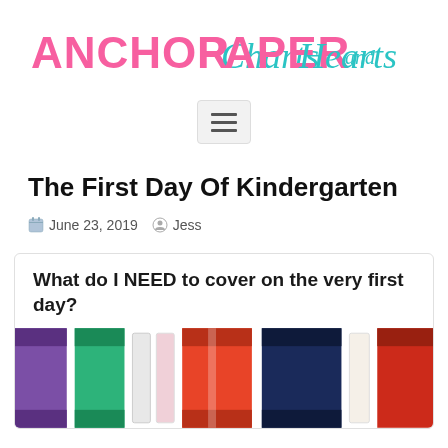ANCHOR Charts and PAPER Hearts
[Figure (logo): Blog logo reading 'ANCHOR Charts and PAPER Hearts' in pink and teal script/display lettering]
[Figure (other): Hamburger menu button (three horizontal lines) in a rounded rectangle box]
The First Day Of Kindergarten
June 23, 2019  Jess
What do I NEED to cover on the very first day?
[Figure (photo): Close-up photo of colorful markers/crayons (purple, green, orange, red, navy) against a white background]